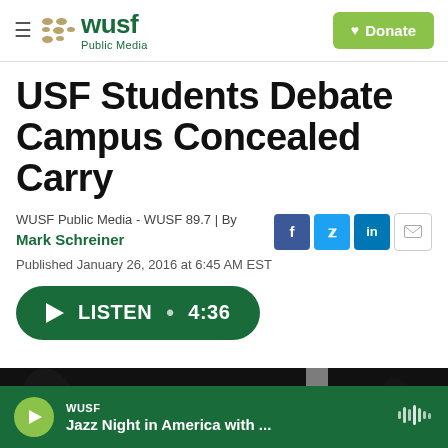[Figure (screenshot): WUSF Public Media navigation bar with logo and Donate button]
USF Students Debate Campus Concealed Carry
WUSF Public Media - WUSF 89.7 | By Mark Schreiner
Published January 26, 2016 at 6:45 AM EST
[Figure (screenshot): Listen button showing 4:36 duration]
[Figure (photo): Dark outdoor nighttime photo showing a person silhouetted against trees and a column]
[Figure (screenshot): Audio player bar at bottom showing WUSF - Jazz Night in America with ...]